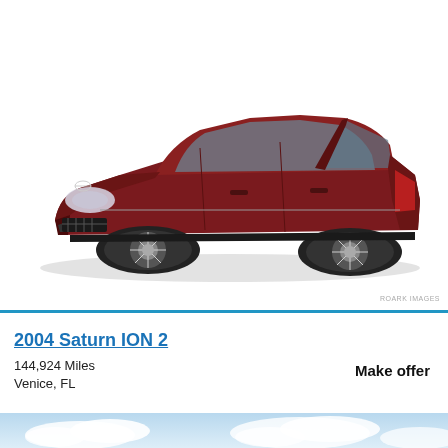[Figure (photo): A dark red/maroon 2004 Saturn ION 2 sedan photographed from a front three-quarter angle on a white background. The car has alloy wheels and is shown in a stock product-style photo.]
2004 Saturn ION 2
144,924 Miles
Venice, FL
Make offer